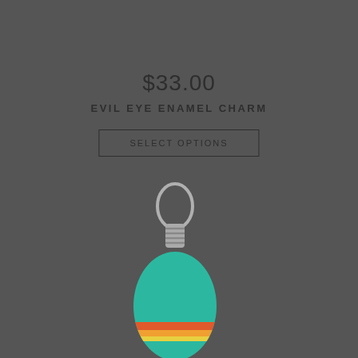$33.00
EVIL EYE ENAMEL CHARM
SELECT OPTIONS
[Figure (photo): Photo of an Evil Eye Enamel Charm keychain with a teal/turquoise oval enamel pendant with colorful stripe details and a silver wire-wrapped top with a metal ring, partially visible at the bottom of the page.]